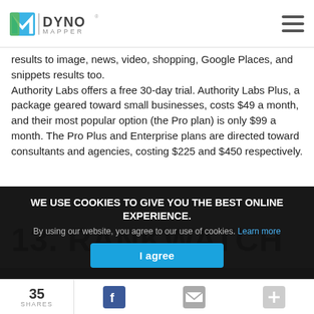DynoMapper logo and navigation
results to image, news, video, shopping, Google Places, and snippets results too.
Authority Labs offers a free 30-day trial. Authority Labs Plus, a package geared toward small businesses, costs $49 a month, and their most popular option (the Pro plan) is only $99 a month. The Pro Plus and Enterprise plans are directed toward consultants and agencies, costing $225 and $450 respectively.
13. RANKWATCH
WE USE COOKIES TO GIVE YOU THE BEST ONLINE EXPERIENCE.
By using our website, you agree to our use of cookies. Learn more
I agree
35 SHARES